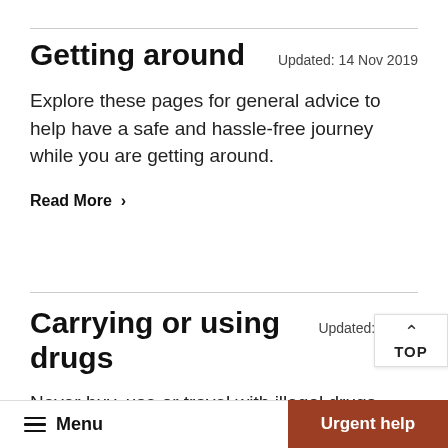Getting around
Updated: 14 Nov 2019
Explore these pages for general advice to help have a safe and hassle-free journey while you are getting around.
Read More  >
Carrying or using drugs
Updated: 19 Ma
Never buy, use or travel with illegal drugs when overseas.
Menu   Urgent help